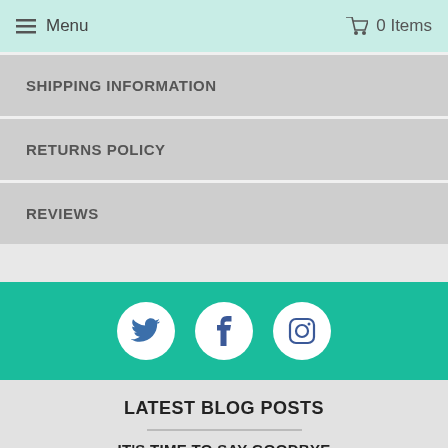≡ Menu   🛒 0 Items
SHIPPING INFORMATION
RETURNS POLICY
REVIEWS
[Figure (infographic): Social media icons (Twitter, Facebook, Instagram) as white circles on a teal background]
LATEST BLOG POSTS
IT'S TIME TO SAY GOODBYE